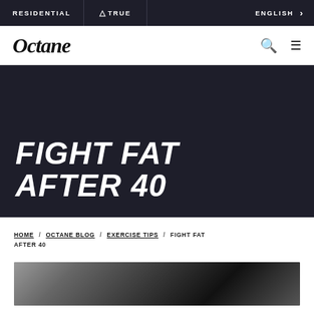RESIDENTIAL / TRUE / ENGLISH >
Octane
FIGHT FAT AFTER 40
HOME / OCTANE BLOG / EXERCISE TIPS / FIGHT FAT AFTER 40
[Figure (photo): Black and white photo strip at the bottom of the page, partially visible]